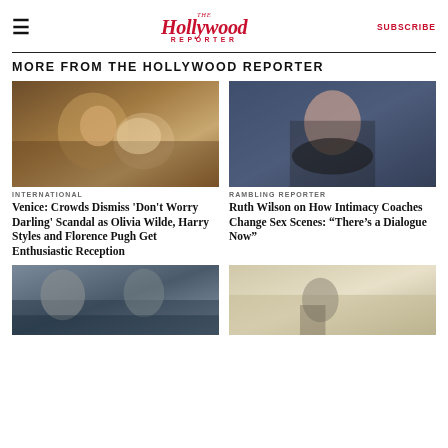≡  THE Hollywood REPORTER  SUBSCRIBE
MORE FROM THE HOLLYWOOD REPORTER
[Figure (photo): Two actors in an intimate scene lying in bed, close together — promotional still from 'Don't Worry Darling']
INTERNATIONAL
Venice: Crowds Dismiss 'Don't Worry Darling' Scandal as Olivia Wilde, Harry Styles and Florence Pugh Get Enthusiastic Reception
[Figure (photo): Ruth Wilson, actress, smiling at camera in a black sleeveless dress against a blue/wooden interior background]
RAMBLING REPORTER
Ruth Wilson on How Intimacy Coaches Change Sex Scenes: “There’s a Dialogue Now”
[Figure (photo): Two men standing on a rocky coastal cliff with ocean waves below — movie still]
[Figure (photo): Person on a motorcycle in a desert/sandy landscape with flag — movie still]